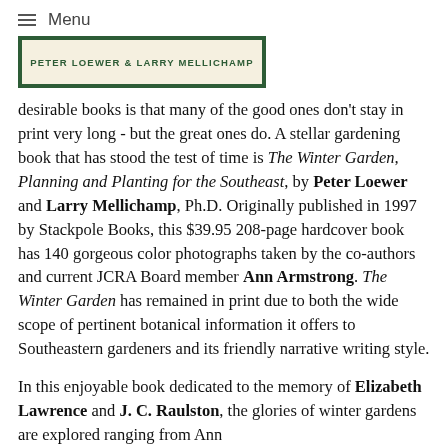≡ Menu
[Figure (illustration): Book cover image showing 'Peter Loewer & Larry Mellichamp' text on a dark green bordered cream background]
desirable books is that many of the good ones don't stay in print very long - but the great ones do. A stellar gardening book that has stood the test of time is The Winter Garden, Planning and Planting for the Southeast, by Peter Loewer and Larry Mellichamp, Ph.D. Originally published in 1997 by Stackpole Books, this $39.95 208-page hardcover book has 140 gorgeous color photographs taken by the co-authors and current JCRA Board member Ann Armstrong. The Winter Garden has remained in print due to both the wide scope of pertinent botanical information it offers to Southeastern gardeners and its friendly narrative writing style.
In this enjoyable book dedicated to the memory of Elizabeth Lawrence and J. C. Raulston, the glories of winter gardens are explored ranging from Ann